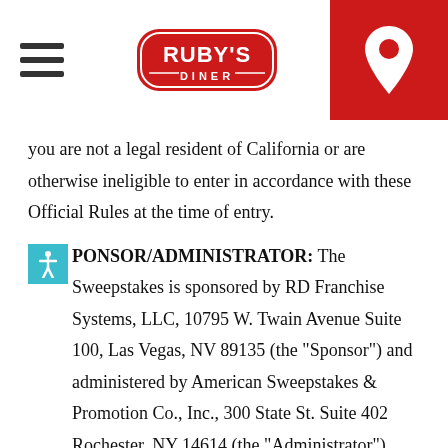Ruby's Diner logo header with hamburger menu and location icon
you are not a legal resident of California or are otherwise ineligible to enter in accordance with these Official Rules at the time of entry.
SPONSOR/ADMINISTRATOR:
The Sweepstakes is sponsored by RD Franchise Systems, LLC, 10795 W. Twain Avenue Suite 100, Las Vegas, NV 89135 (the “Sponsor”) and administered by American Sweepstakes & Promotion Co., Inc., 300 State St. Suite 402 Rochester, NY 14614 (the “Administrator”).
ELIGIBILITY: The Sweepstakes is open only to legal residents